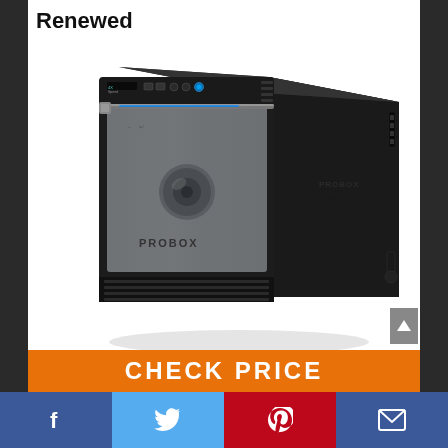Renewed
[Figure (photo): ProBox external hard drive enclosure - a black and silver desktop NAS/RAID storage device with PROBOX branding on the front panel, control buttons on top, and ventilation slots at the bottom.]
CHECK PRICE
Facebook | Twitter | Pinterest | Email social sharing bar